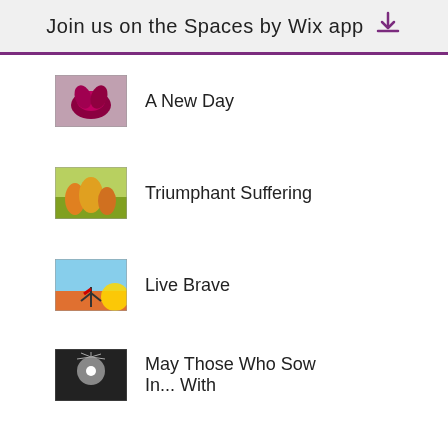Join us on the Spaces by Wix app
A New Day
Triumphant Suffering
Live Brave
May Those Who Sow In...With